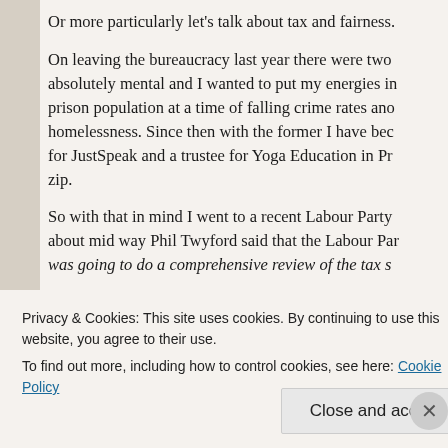Or more particularly let's talk about tax and fairness.
On leaving the bureaucracy last year there were two things that were absolutely mental and I wanted to put my energies into. The growing prison population at a time of falling crime rates and homelessness. Since then with the former I have become an ambassador for JustSpeak and a trustee for Yoga Education in Prisons. The latter zip.
So with that in mind I went to a recent Labour Party ... about mid way Phil Twyford said that the Labour Par... was going to do a comprehensive review of the tax s...
Privacy & Cookies: This site uses cookies. By continuing to use this website, you agree to their use.
To find out more, including how to control cookies, see here: Cookie Policy
Close and accept
Advertisements